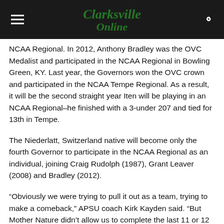Clarksville Online
NCAA Regional. In 2012, Anthony Bradley was the OVC Medalist and participated in the NCAA Regional in Bowling Green, KY. Last year, the Governors won the OVC crown and participated in the NCAA Tempe Regional. As a result, it will be the second straight year Iten will be playing in an NCAA Regional–he finished with a 3-under 207 and tied for 13th in Tempe.
The Niederlatt, Switzerland native will become only the fourth Governor to participate in the NCAA Regional as an individual, joining Craig Rudolph (1987), Grant Leaver (2008) and Bradley (2012).
“Obviously we were trying to pull it out as a team, trying to make a comeback,” APSU coach Kirk Kayden said. “But Mother Nature didn’t allow us to complete the last 11 or 12